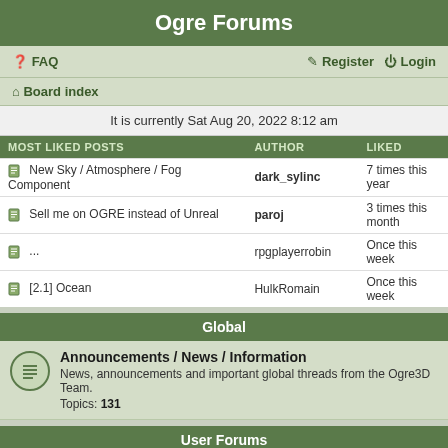Ogre Forums
FAQ   Register   Login
Board index
It is currently Sat Aug 20, 2022 8:12 am
| MOST LIKED POSTS | AUTHOR | LIKED |
| --- | --- | --- |
| New Sky / Atmosphere / Fog Component | dark_sylinc | 7 times this year |
| Sell me on OGRE instead of Unreal | paroj | 3 times this month |
| ... | rpgplayerrobin | Once this week |
| [2.1] Ocean | HulkRomain | Once this week |
Global
Announcements / News / Information
News, announcements and important global threads from the Ogre3D Team.
Topics: 131
User Forums
General Discussion
Anything and everything that's related to OGRE or the wider graphics field that doesn't fit into the other forums.
Topics: 8563
Help
Problems building or running the engine, queries about how to use features etc.
Topics: 38345